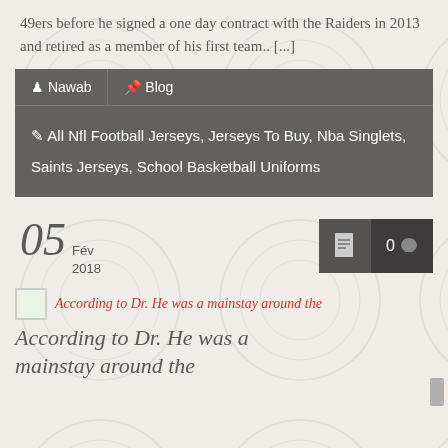49ers before he signed a one day contract with the Raiders in 2013 and retired as a member of his first team.. [...]
Nawab  Blog  All Nfl Football Jerseys, Jerseys To Buy, Nba Singlets, Saints Jerseys, School Basketball Uniforms
05 Fév 2018  0
[Figure (photo): Small thumbnail image for article]
According to Dr. He was a mainstay around the
According to Dr. He was a mainstay around the